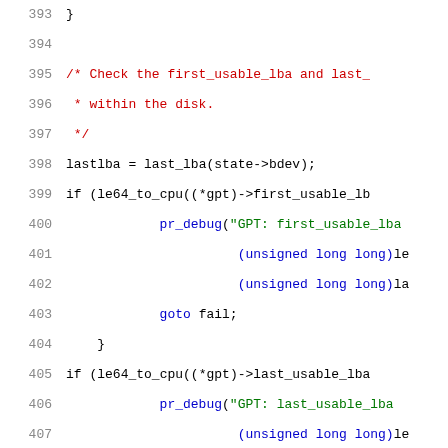[Figure (screenshot): Source code listing, lines 393-414, C programming language, with syntax highlighting. Lines show GPT partition boundary validation code using le64_to_cpu and pr_debug functions.]